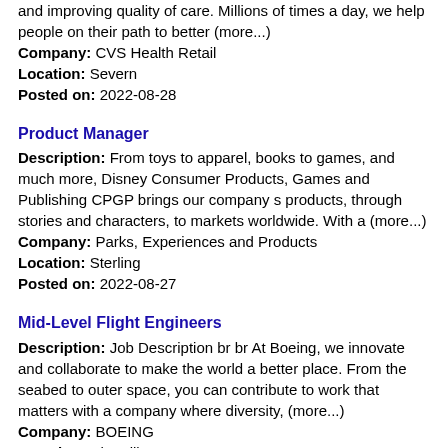and improving quality of care. Millions of times a day, we help people on their path to better (more...)
Company: CVS Health Retail
Location: Severn
Posted on: 2022-08-28
Product Manager
Description: From toys to apparel, books to games, and much more, Disney Consumer Products, Games and Publishing CPGP brings our company s products, through stories and characters, to markets worldwide. With a (more...)
Company: Parks, Experiences and Products
Location: Sterling
Posted on: 2022-08-27
Mid-Level Flight Engineers
Description: Job Description br br At Boeing, we innovate and collaborate to make the world a better place. From the seabed to outer space, you can contribute to work that matters with a company where diversity, (more...)
Company: BOEING
Location: Chantilly
Posted on: 2022-08-29
Editor
Description: We are currently searching for an Editor to independently provide support services to satisfy the overall contractual obligations of the NCBDSTR. This opportunity is full...